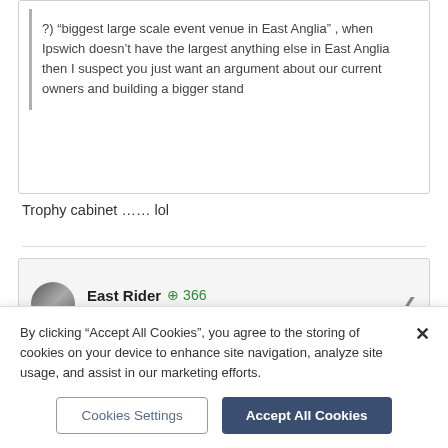?) “biggest large scale event venue in East Anglia” , when Ipswich doesn’t have the largest anything else in East Anglia then I suspect you just want an argument about our current owners and building a bigger stand
Trophy cabinet …… lol
East Rider ⊕ 366 Posted December 19, 2021
By clicking “Accept All Cookies”, you agree to the storing of cookies on your device to enhance site navigation, analyze site usage, and assist in our marketing efforts.